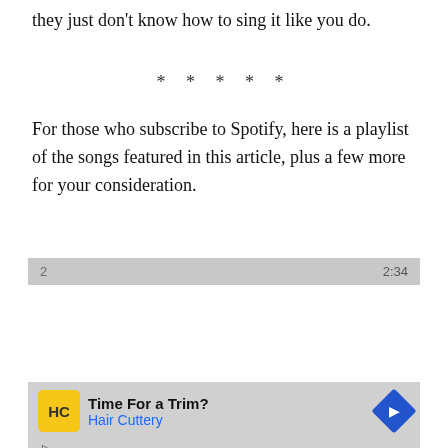they just don't know how to sing it like you do.
* * * * *
For those who subscribe to Spotify, here is a playlist of the songs featured in this article, plus a few more for your consideration.
[Figure (screenshot): Spotify embedded playlist player showing 'Solomon Burke For ABS' playlist by Bill Graham. Player controls show track 1: 'Just Out of Reach (Of My Two Empty Arms)' by Solomon Burke, duration 2:44. Track 2 shows duration 2:34. Track 3 shows duration 2:46.]
[Figure (screenshot): Advertisement overlay for Hair Cuttery: 'Time For a Trim?' with Hair Cuttery logo and blue arrow navigation icon.]